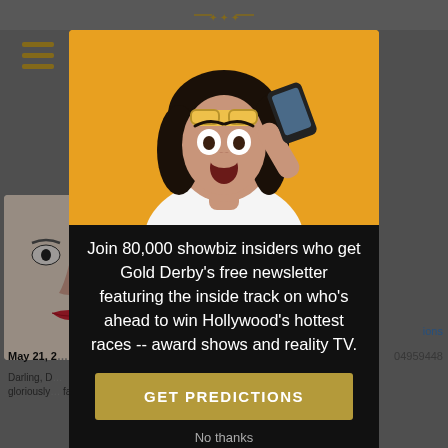[Figure (screenshot): Background website screenshot showing a celebrity/entertainment news site (Gold Derby) with hamburger menu, partial face image, date text 'May 21, 2...', partial article text 'Darling, D... gloriously...', right side text '04959448', 'ions', 'faces...', lower card with 'Viola' and 'dk' text]
[Figure (photo): Woman with surprised expression, dark hair, holding a smartphone, wearing sunglasses on forehead, white top, yellow/orange background]
Join 80,000 showbiz insiders who get Gold Derby's free newsletter featuring the inside track on who's ahead to win Hollywood's hottest races -- award shows and reality TV.
GET PREDICTIONS
No thanks